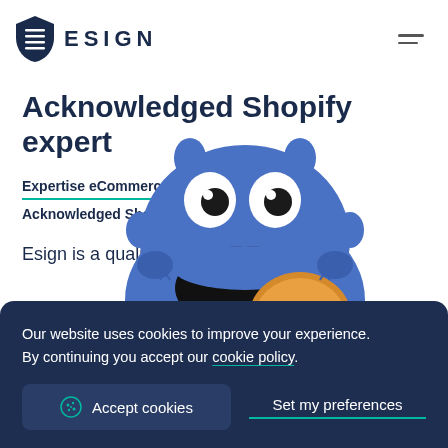ESIGN
Acknowledged Shopify expert
Expertise eCommerce › Acknowledged Shopify expert
Esign is a qualified Shopify
[Figure (illustration): Cookie Monster character from Sesame Street eating a cookie, overlaid on the page content]
Our website uses cookies to improve your experience. By continuing you accept our cookie policy.
Accept cookies  Set my preferences